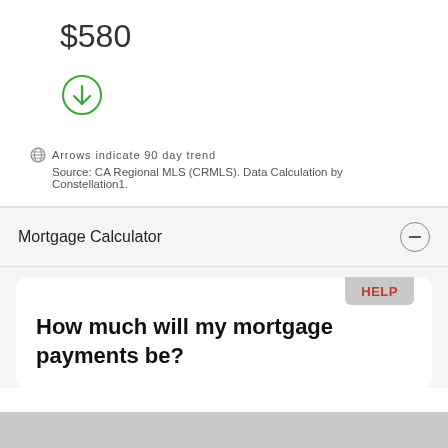$580
[Figure (illustration): Green circle with downward arrow icon indicating a downward 90-day trend]
Arrows indicate 90 day trend
Source: CA Regional MLS (CRMLS). Data Calculation by Constellation1.
Mortgage Calculator
HELP
How much will my mortgage payments be?